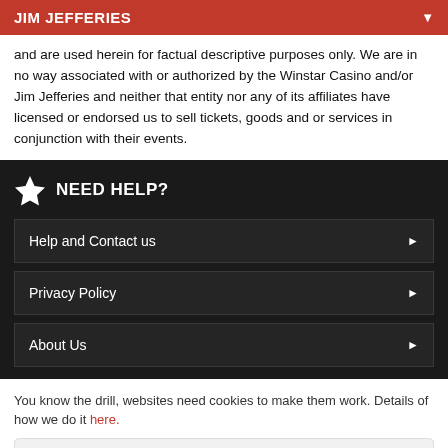JIM JEFFERIES
and are used herein for factual descriptive purposes only. We are in no way associated with or authorized by the Winstar Casino and/or Jim Jefferies and neither that entity nor any of its affiliates have licensed or endorsed us to sell tickets, goods and or services in conjunction with their events.
NEED HELP?
Help and Contact us
Privacy Policy
About Us
You know the drill, websites need cookies to make them work. Details of how we do it here.
Got it!